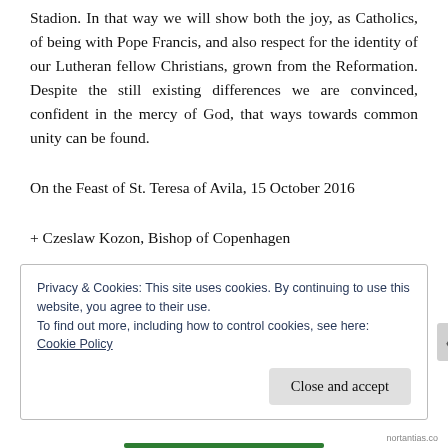Stadion. In that way we will show both the joy, as Catholics, of being with Pope Francis, and also respect for the identity of our Lutheran fellow Christians, grown from the Reformation. Despite the still existing differences we are convinced, confident in the mercy of God, that ways towards common unity can be found.
On the Feast of St. Teresa of Avila, 15 October 2016
+ Czeslaw Kozon, Bishop of Copenhagen
Privacy & Cookies: This site uses cookies. By continuing to use this website, you agree to their use.
To find out more, including how to control cookies, see here: Cookie Policy